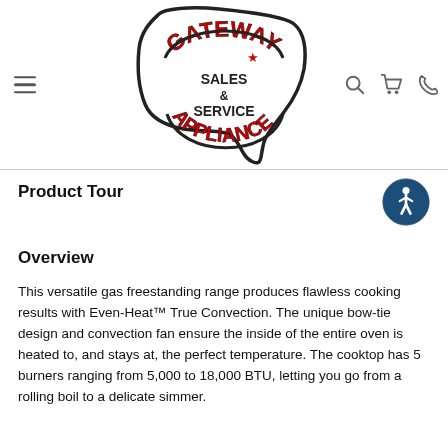[Figure (logo): Gateway Appliance Sales & Service logo — red arched text 'GATEWAY' at top, black text 'SALES & SERVICE', red arched text 'APPLIANCE' at bottom, all inside a speech-bubble outline shape of a US state (Iowa)]
Product Tour
[Figure (illustration): Blue circular accessibility icon with white person figure in center (wheelchair accessibility symbol style)]
Overview
This versatile gas freestanding range produces flawless cooking results with Even-Heat™ True Convection. The unique bow-tie design and convection fan ensure the inside of the entire oven is heated to, and stays at, the perfect temperature. The cooktop has 5 burners ranging from 5,000 to 18,000 BTU, letting you go from a rolling boil to a delicate simmer.